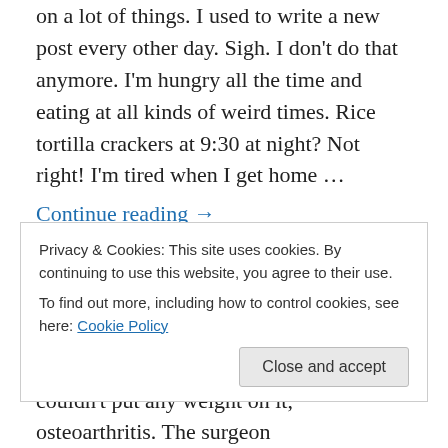on a lot of things. I used to write a new post every other day. Sigh. I don't do that anymore. I'm hungry all the time and eating at all kinds of weird times. Rice tortilla crackers at 9:30 at night? Not right! I'm tired when I get home …
Continue reading →
September 20, 2016
Leave a Reply
Obesity CAN Delay Medical Treatment!
Privacy & Cookies: This site uses cookies. By continuing to use this website, you agree to their use.
To find out more, including how to control cookies, see here: Cookie Policy
Close and accept
couldn't put any weight on it, osteoarthritis. The surgeon